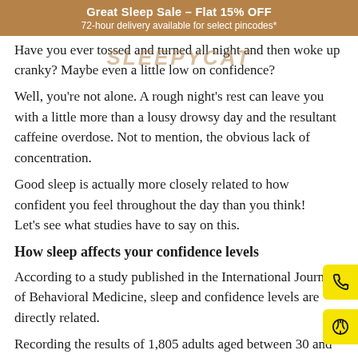Great Sleep Sale – Flat 15% OFF
72-hour delivery available for select pincodes*
Have you ever tossed and turned all night and then woke up cranky? Maybe even a little low on confidence?
Well, you're not alone. A rough night's rest can leave you with a little more than a lousy drowsy day and the resultant caffeine overdose. Not to mention, the obvious lack of concentration.
Good sleep is actually more closely related to how confident you feel throughout the day than you think! Let's see what studies have to say on this.
How sleep affects your confidence levels
According to a study published in the International Journal of Behavioral Medicine, sleep and confidence levels are directly related.
Recording the results of 1,805 adults aged between 30 and 84, it found out that those who slept lower than 6